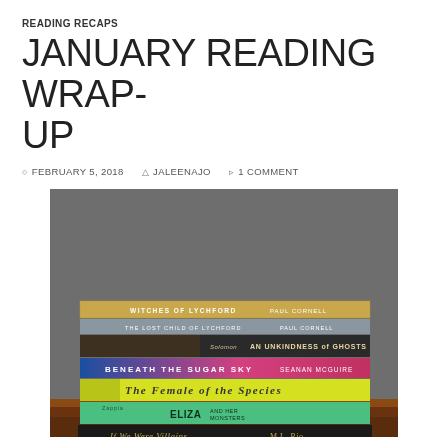READING RECAPS
JANUARY READING WRAP-UP
FEBRUARY 5, 2018   JALEENAJO   1 COMMENT
[Figure (photo): A stack of books photographed on a wooden table against a gray background. Visible book spines from top to bottom: Witches of Lychford by Paul Cornell, The Lost Child of Lychford by Paul Cornell, An Unkindness of Ghosts by Solomon Rivers, Beneath the Sugar Sky by Seanan McGuire, The Female of the Species, Eliza and Her Monsters by Zappia, If We Were Villains by M.L. Rio.]